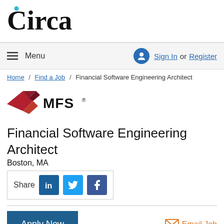[Figure (logo): Circa logo with stylized 'C' and dot]
≡ Menu   Sign In or Register
Home / Find a Job / Financial Software Engineering Architect
[Figure (logo): MFS Investment Management logo - red geometric diamond shape with MFS text]
Financial Software Engineering Architect
Boston, MA
Share [LinkedIn] [Twitter] [Facebook]
Apply Now   Email Job